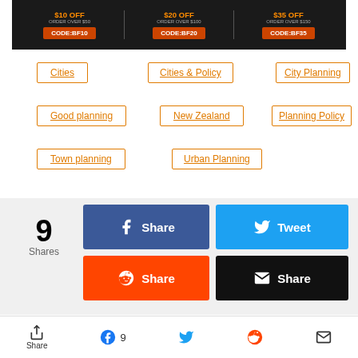[Figure (screenshot): Black banner with promotional discount codes: $10 OFF ORDER OVER $50 CODE:BF10, $20 OFF ORDER OVER $100 CODE:BF20, $35 OFF ORDER OVER $150 CODE:BF35]
Cities
Cities & Policy
City Planning
Good planning
New Zealand
Planning Policy
Town planning
Urban Planning
[Figure (screenshot): Social sharing widget with 9 Shares count, Facebook Share button (dark blue), Tweet button (light blue), Reddit Share button (orange-red), Email Share button (black)]
Share 9 [Facebook] [Twitter] [Reddit] [Email]